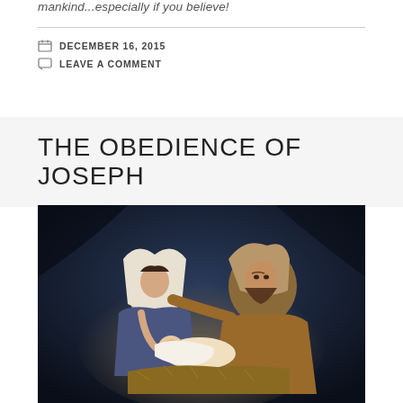mankind...especially if you believe!
DECEMBER 16, 2015
LEAVE A COMMENT
THE OBEDIENCE OF JOSEPH
[Figure (illustration): Nativity painting showing Mary in white veil and Joseph in brown robe, both looking down at the baby Jesus lying in straw, in a dark stable setting.]